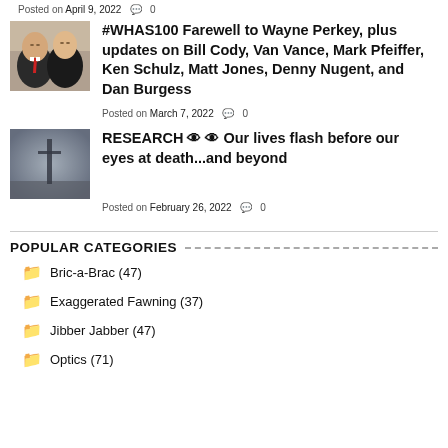Posted on April 9, 2022   0
#WHAS100 Farewell to Wayne Perkey, plus updates on Bill Cody, Van Vance, Mark Pfeiffer, Ken Schulz, Matt Jones, Denny Nugent, and Dan Burgess
Posted on March 7, 2022   0
RESEARCH 👁 👁 Our lives flash before our eyes at death...and beyond
Posted on February 26, 2022   0
POPULAR CATEGORIES
Bric-a-Brac (47)
Exaggerated Fawning (37)
Jibber Jabber (47)
Optics (71)